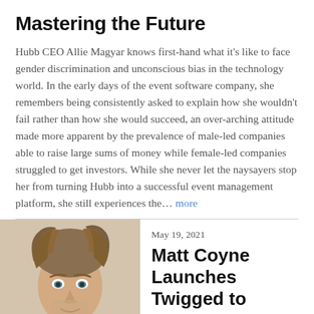Mastering the Future
Hubb CEO Allie Magyar knows first-hand what it’s like to face gender discrimination and unconscious bias in the technology world. In the early days of the event software company, she remembers being consistently asked to explain how she wouldn’t fail rather than how she would succeed, an over-arching attitude made more apparent by the prevalence of male-led companies able to raise large sums of money while female-led companies struggled to get investors. While she never let the naysayers stop her from turning Hubb into a successful event management platform, she still experiences the… more
[Figure (photo): Headshot photo of Matt Coyne, a man with tousled brown-blonde hair and blue eyes, light beard, against a light background]
May 19, 2021
Matt Coyne Launches Twigged to